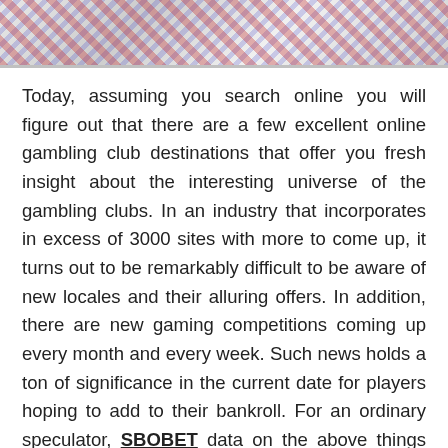[Figure (photo): Partial image of playing cards visible at the top of the page, cropped]
Today, assuming you search online you will figure out that there are a few excellent online gambling club destinations that offer you fresh insight about the interesting universe of the gambling clubs. In an industry that incorporates in excess of 3000 sites with more to come up, it turns out to be remarkably difficult to be aware of new locales and their alluring offers. In addition, there are new gaming competitions coming up every month and every week. Such news holds a ton of significance in the current date for players hoping to add to their bankroll. For an ordinary speculator, SBOBET data on the above things structure to be of an incredible interest. The best way to become educated about the everyday happenings is through the web club news. There is no question that it takes a great deal to bring you day to day inclusion of the web gambling world. Luckily enough, there are 5 to at least 10 locales